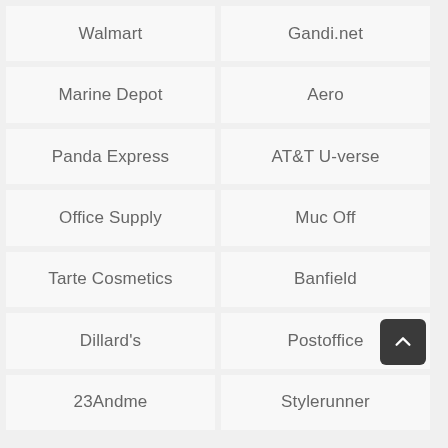Walmart
Gandi.net
Marine Depot
Aero
Panda Express
AT&T U-verse
Office Supply
Muc Off
Tarte Cosmetics
Banfield
Dillard's
Postoffice
23Andme
Stylerunner